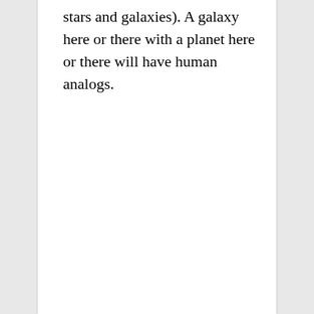stars and galaxies). A galaxy here or there with a planet here or there will have human analogs.